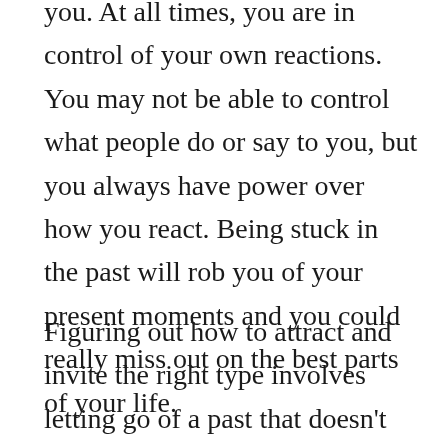you. At all times, you are in control of your own reactions. You may not be able to control what people do or say to you, but you always have power over how you react. Being stuck in the past will rob you of your present moments and you could really miss out on the best parts of your life.
Figuring out how to attract and invite the right type involves letting go of a past that doesn't serve you. When you release what has bound you for so long, you will